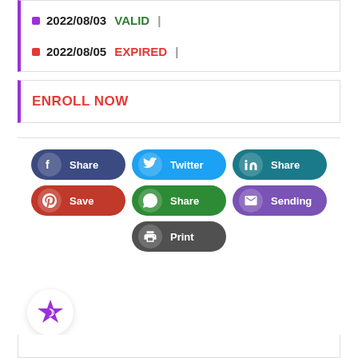2022/08/03 VALID |
2022/08/05 EXPIRED |
ENROLL NOW
[Figure (infographic): Social sharing buttons: Facebook Share (dark blue), Twitter (light blue), LinkedIn Share (teal), Pinterest Save (red), WhatsApp Share (green), Email Sending (purple), Print (dark gray)]
[Figure (logo): Purple star/gear badge icon in a white circle]